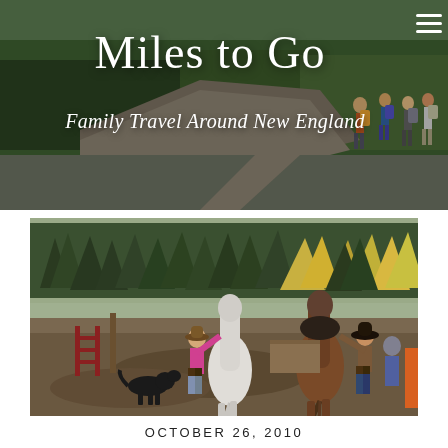[Figure (photo): Header photo of hikers on a rocky trail with forested mountains in background, overlaid with blog title text 'Miles to Go' and subtitle 'Family Travel Around New England']
Miles to Go
Family Travel Around New England
[Figure (photo): Photo of people saddling horses in a muddy ranch corral with evergreen and autumn trees in the background; a black dog is visible on the left]
OCTOBER 26, 2010